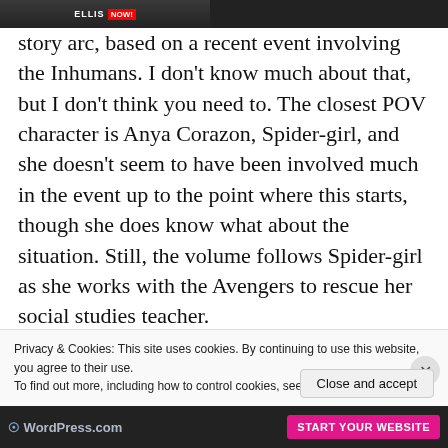[Figure (screenshot): Top partial screenshot showing a TV/news broadcast with 'ELLIS' and 'NOW!' text overlay on dark background]
story arc, based on a recent event involving the Inhumans. I don't know much about that, but I don't think you need to. The closest POV character is Anya Corazon, Spider-girl, and she doesn't seem to have been involved much in the event up to the point where this starts, though she does know what about the situation. Still, the volume follows Spider-girl as she works with the Avengers to rescue her social studies teacher.
The closest fo...
Privacy & Cookies: This site uses cookies. By continuing to use this website, you agree to their use.
To find out more, including how to control cookies, see here: Cookie Policy
Close and accept
[Figure (screenshot): WordPress.com bottom banner with logo and 'START YOUR WEBSITE' button]